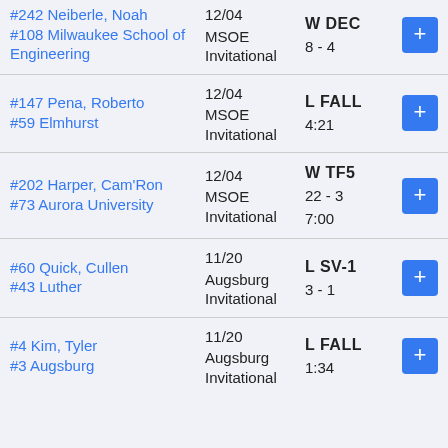| Opponent | Date/Event | Result |  |
| --- | --- | --- | --- |
| #242 Neiberle, Noah
#108 Milwaukee School of Engineering | 12/04
MSOE Invitational | W DEC
8 - 4 | + |
| #147 Pena, Roberto
#59 Elmhurst | 12/04
MSOE Invitational | L FALL
4:21 | + |
| #202 Harper, Cam'Ron
#73 Aurora University | 12/04
MSOE Invitational | W TF5
22 - 3
7:00 | + |
| #60 Quick, Cullen
#43 Luther | 11/20
Augsburg Invitational | L SV-1
3 - 1 | + |
| #4 Kim, Tyler
#3 Augsburg | 11/20
Augsburg Invitational | L FALL
1:34 | + |